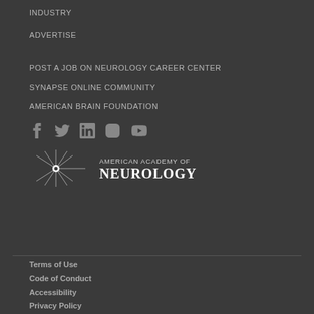INDUSTRY
ADVERTISE
POST A JOB ON NEUROLOGY CAREER CENTER
SYNAPSE ONLINE COMMUNITY
AMERICAN BRAIN FOUNDATION
[Figure (illustration): Social media icons: Facebook, Twitter, LinkedIn, Instagram, YouTube]
[Figure (logo): American Academy of Neurology logo with starburst icon and text]
Terms of Use
Code of Conduct
Accessibility
Privacy Policy